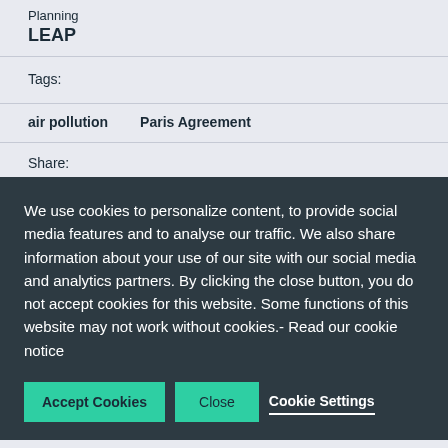Planning
LEAP
Tags:
air pollution
Paris Agreement
Share:
We use cookies to personalize content, to provide social media features and to analyse our traffic. We also share information about your use of our site with our social media and analytics partners. By clicking the close button, you do not accept cookies for this website. Some functions of this website may not work without cookies.- Read our cookie notice
Accept Cookies
Close
Cookie Settings